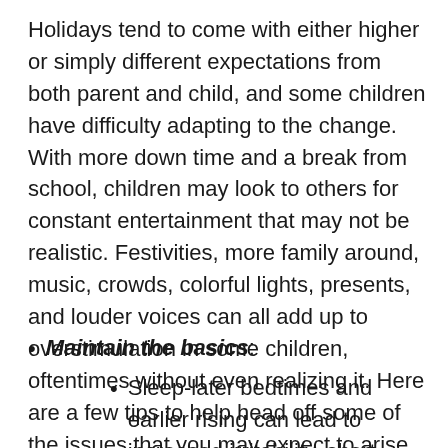Holidays tend to come with either higher or simply different expectations from both parent and child, and some children have difficulty adapting to the change. With more down time and a break from school, children may look to others for constant entertainment that may not be realistic. Festivities, more family around, music, crowds, colorful lights, presents, and louder voices can all add up to overstimulation in some children, oftentimes without even realizing it. Here are a few tips to help head off some of the issues that you may expect to arise.
Maintain the basics:
Sleep-later bedtimes and earlier rising can lead to increased irritability, short fuses, and difficulty problem solving when